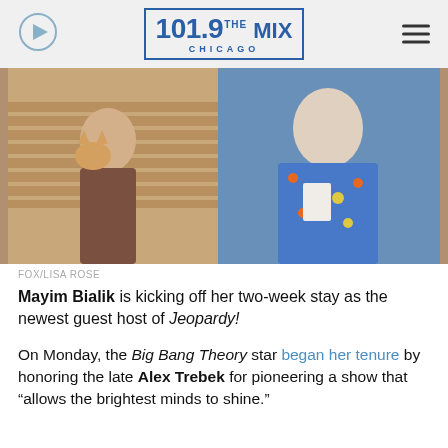101.9 THE MIX CHICAGO
[Figure (photo): Two women photographed together; left woman holds an orange cat in a warmly lit room with wood blinds; right woman wears a blue floral dress and holds papers, smiling.]
FOX/LISA ROSE
Mayim Bialik is kicking off her two-week stay as the newest guest host of Jeopardy!
On Monday, the Big Bang Theory star began her tenure by honoring the late Alex Trebek for pioneering a show that “allows the brightest minds to shine.”